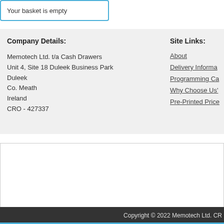Your basket is empty
Company Details:
Memotech Ltd. t/a Cash Drawers
Unit 4, Site 18 Duleek Business Park
Duleek
Co. Meath
Ireland
CRO - 427337
Site Links:
About
Delivery Informa...
Programming Ca...
Why Choose Us'...
Pre-Printed Price...
Copyright © 2022 Memotech Ltd. CR